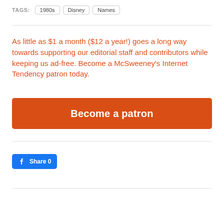TAGS: 1980s Disney Names
As little as $1 a month ($12 a year!) goes a long way towards supporting our editorial staff and contributors while keeping us ad-free. Become a McSweeney's Internet Tendency patron today.
[Figure (other): Orange button labeled 'Become a patron']
[Figure (other): Facebook Share button with count 0]